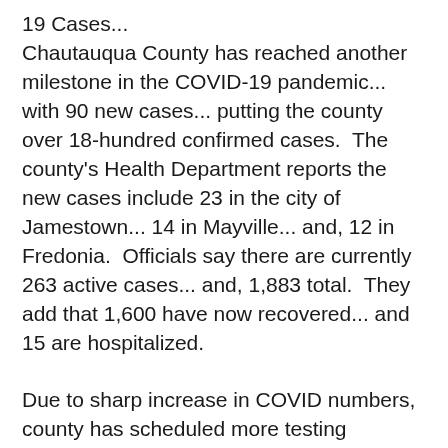19 Cases...
Chautauqua County has reached another milestone in the COVID-19 pandemic... with 90 new cases... putting the county over 18-hundred confirmed cases.  The county's Health Department reports the new cases include 23 in the city of Jamestown... 14 in Mayville... and, 12 in Fredonia.  Officials say there are currently 263 active cases... and, 1,883 total.  They add that 1,600 have now recovered... and 15 are hospitalized.
Due to sharp increase in COVID numbers, county has scheduled more testing clinics...
With the sharp rise in COVID-19 cases and illness in the county... the Health Department has scheduled more free COVID-19 testing in both Dunkirk and Jamestown throughout the month of December.  Public Health Director Christine Schuyler says the Dunkirk Fire Training Grounds will host two clinics... the first is next Tues. Dec.